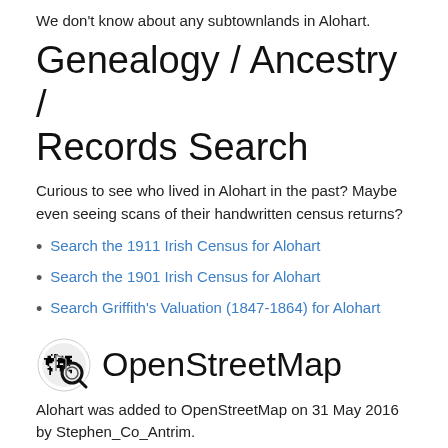We don't know about any subtownlands in Alohart.
Genealogy / Ancestry / Records Search
Curious to see who lived in Alohart in the past? Maybe even seeing scans of their handwritten census returns?
Search the 1911 Irish Census for Alohart
Search the 1901 Irish Census for Alohart
Search Griffith's Valuation (1847-1864) for Alohart
OpenStreetMap
Alohart was added to OpenStreetMap on 31 May 2016 by Stephen_Co_Antrim.
View
View on OpenStreetMap.org   Show Changes
Edit
JOSM   iD   Potlatch   Level0